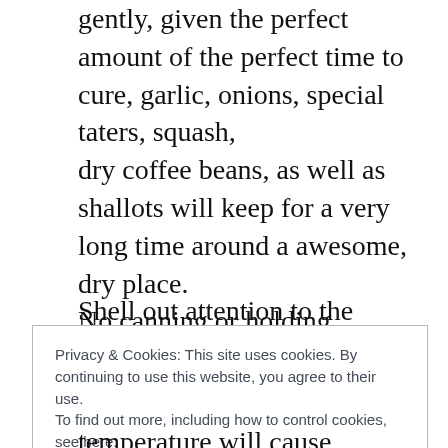gently, given the perfect amount of the perfect time to cure, garlic, onions, special taters, squash,
dry coffee beans, as well as shallots will keep for a very long time around a awesome, dry place.
No canning or holding required. It will ensure obtaining fresh vegetables through the lawn all winter very long.
Shell out attention to the temperature ranges
Privacy & Cookies: This site uses cookies. By continuing to use this website, you agree to their use.
To find out more, including how to control cookies, see here: Cookie Policy
temperature will cause